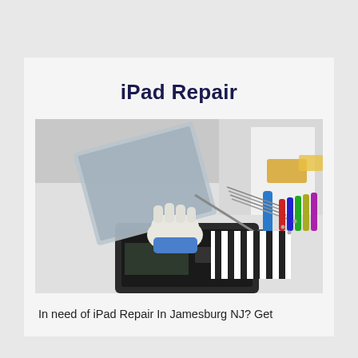iPad Repair
[Figure (photo): A technician wearing blue and white gloves uses a tool to lift the screen of a disassembled iPad on a white workbench. Various repair tools including screwdrivers, tweezers, and a blue handle tool are spread across the desk.]
In need of iPad Repair In Jamesburg NJ? Get